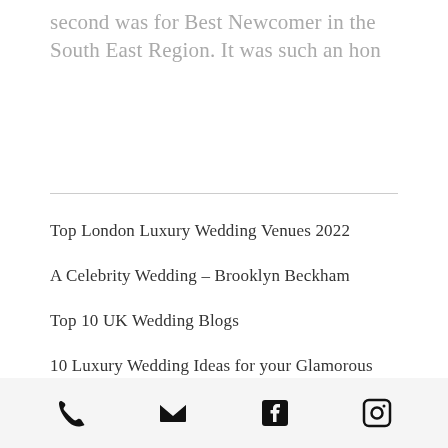second was for Best Newcomer in the South East Region. It was such an hon
Top London Luxury Wedding Venues 2022
A Celebrity Wedding – Brooklyn Beckham
Top 10 UK Wedding Blogs
10 Luxury Wedding Ideas for your Glamorous Big D...
[phone] [email] [facebook] [instagram]